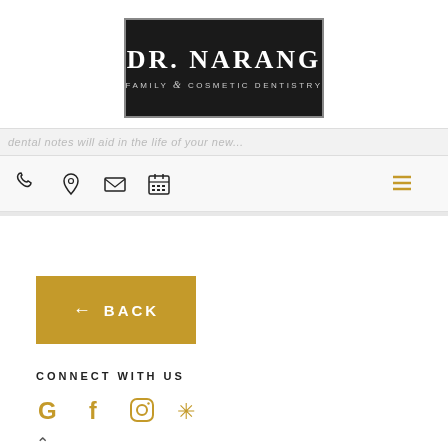[Figure (logo): Dr. Narang Family & Cosmetic Dentistry logo — black rectangle with white serif text]
dental notes will aid in the life of your new...
[Figure (infographic): Navigation icon bar with phone, location pin, envelope, calendar icons, and hamburger menu]
← BACK
CONNECT WITH US
[Figure (infographic): Social media icons: Google, Facebook, Instagram, Yelp]